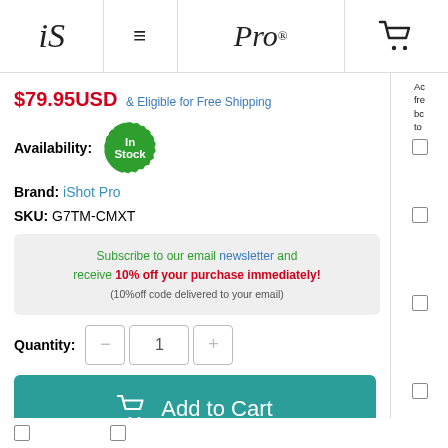iS  ≡  Pro®  🛒
$79.95USD & Eligible for Free Shipping
Availability: In Stock
Brand: iShot Pro
SKU: G7TM-CMXT
Subscribe to our email newsletter and receive 10% off your purchase immediately! (10%off code delivered to your email)
Quantity: 1
Add to Cart